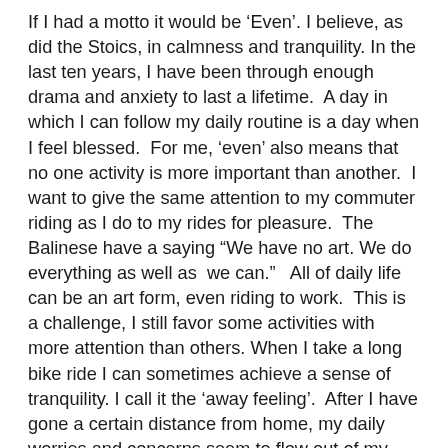If I had a motto it would be 'Even'. I believe, as did the Stoics, in calmness and tranquility. In the last ten years, I have been through enough drama and anxiety to last a lifetime.  A day in which I can follow my daily routine is a day when I feel blessed.  For me, 'even' also means that no one activity is more important than another.  I want to give the same attention to my commuter riding as I do to my rides for pleasure.  The Balinese have a saying "We have no art. We do everything as well as  we can."   All of daily life can be an art form, even riding to work.  This is a challenge, I still favor some activities with more attention than others.  When I take a long bike ride I can sometimes achieve a sense of tranquility. I call it the 'away feeling'.  After I have gone a certain distance from home, my daily worries and concerns seem to flow out of my body, and I feel relaxed and calm.  This does not happen every time I take a long bike ride, but it does happen once in a while.  I would like to experience the away feeling even on short rides in the city.
My other motto would be 'Not always so,' which is the title of a book by zen master Shunryu Suzuki.  I can get caught